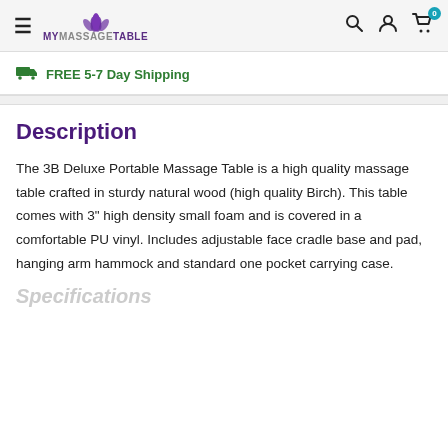MYMASSAGETABLE
FREE 5-7 Day Shipping
Description
The 3B Deluxe Portable Massage Table is a high quality massage table crafted in sturdy natural wood (high quality Birch). This table comes with 3" high density small foam and is covered in a comfortable PU vinyl. Includes adjustable face cradle base and pad, hanging arm hammock and standard one pocket carrying case.
Specifications